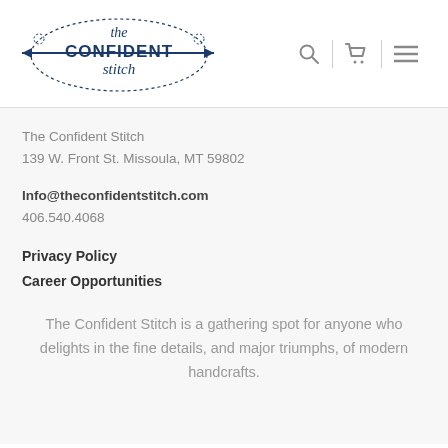[Figure (logo): The Confident Stitch logo with needle and dotted cloud border, cursive text 'the' above 'CONFIDENT stitch' in navy blue]
[Figure (other): Navigation icons: search (magnifying glass), shopping cart, and hamburger menu]
The Confident Stitch
139 W. Front St. Missoula, MT 59802
Info@theconfidentstitch.com
406.540.4068
Privacy Policy
Career Opportunities
The Confident Stitch is a gathering spot for anyone who delights in the fine details, and major triumphs, of modern handcrafts.